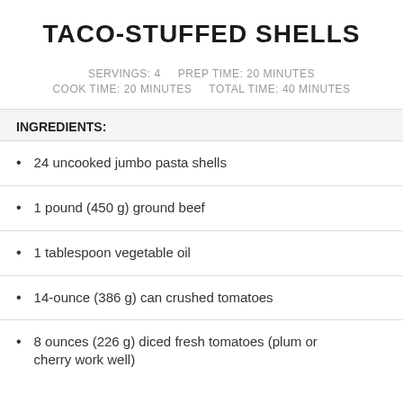TACO-STUFFED SHELLS
SERVINGS: 4    PREP TIME: 20 MINUTES
COOK TIME: 20 MINUTES    TOTAL TIME: 40 MINUTES
INGREDIENTS:
24 uncooked jumbo pasta shells
1 pound (450 g) ground beef
1 tablespoon vegetable oil
14-ounce (386 g) can crushed tomatoes
8 ounces (226 g) diced fresh tomatoes (plum or cherry work well)